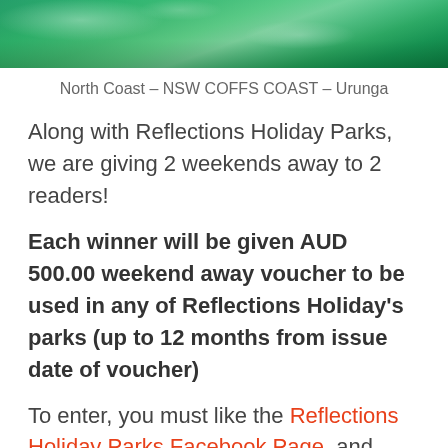[Figure (photo): Close-up photograph of ocean waves with green and turquoise water]
North Coast – NSW COFFS COAST – Urunga
Along with Reflections Holiday Parks, we are giving 2 weekends away to 2 readers!
Each winner will be given AUD 500.00 weekend away voucher to be used in any of Reflections Holiday's parks (up to 12 months from issue date of voucher)
To enter, you must like the Reflections Holiday Parks Facebook Page, and finally,